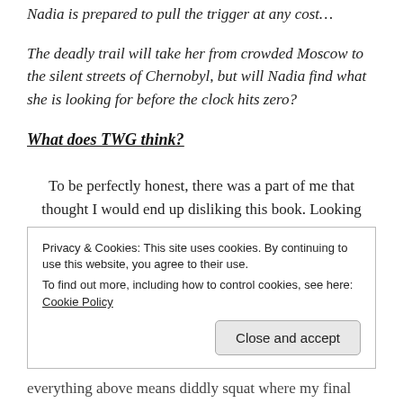Nadia is prepared to pull the trigger at any cost…
The deadly trail will take her from crowded Moscow to the silent streets of Chernobyl, but will Nadia find what she is looking for before the clock hits zero?
What does TWG think?
To be perfectly honest, there was a part of me that thought I would end up disliking this book. Looking back now, I'm not entirely sure how I came to that conclusion after reading a small amount of the book. Maybe it was
Privacy & Cookies: This site uses cookies. By continuing to use this website, you agree to their use.
To find out more, including how to control cookies, see here: Cookie Policy
everything above means diddly squat where my final